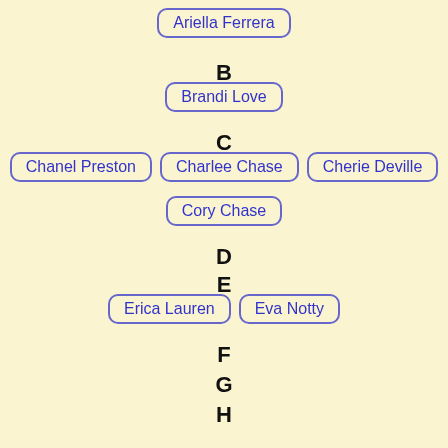Ariella Ferrera
B
Brandi Love
C
Chanel Preston
Charlee Chase
Cherie Deville
Cory Chase
D
E
Erica Lauren
Eva Notty
F
G
H